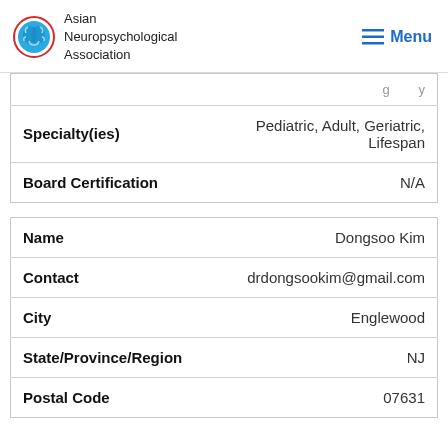Asian Neuropsychological Association | Menu
| Specialty(ies) | Pediatric, Adult, Geriatric, Lifespan |
| Board Certification | N/A |
| Name | Dongsoo Kim |
| Contact | drdongsookim@gmail.com |
| City | Englewood |
| State/Province/Region | NJ |
| Postal Code | 07631 |